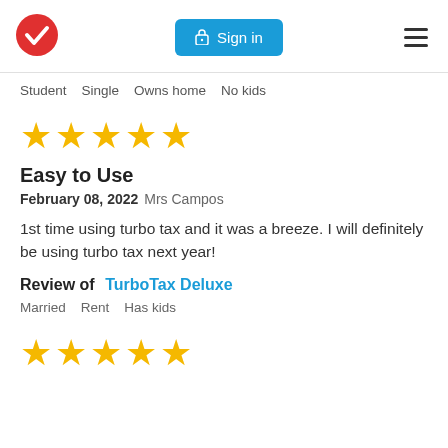[Figure (logo): TurboTax red circle with white checkmark logo]
[Figure (screenshot): Blue Sign in button with lock icon]
[Figure (other): Hamburger menu icon (three horizontal lines)]
Student   Single   Owns home   No kids
[Figure (other): Five gold stars rating]
Easy to Use
February 08, 2022 Mrs Campos
1st time using turbo tax and it was a breeze. I will definitely be using turbo tax next year!
Review of   TurboTax Deluxe
Married   Rent   Has kids
[Figure (other): Five gold stars rating at bottom]